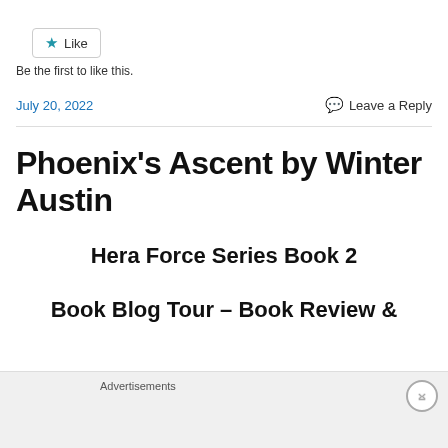[Figure (other): Like button with star icon and text 'Like']
Be the first to like this.
July 20, 2022
Leave a Reply
Phoenix's Ascent by Winter Austin
Hera Force Series Book 2
Book Blog Tour – Book Review &
Advertisements